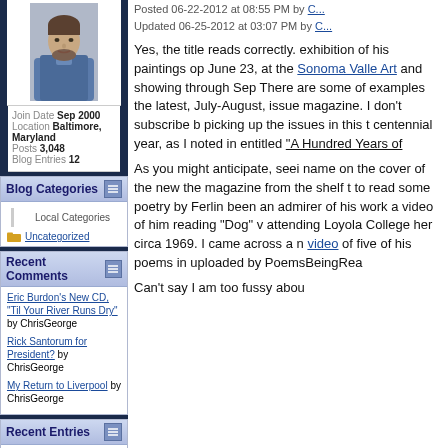[Figure (photo): Profile photo of a man with beard wearing blue/grey jacket]
Join Date Sep 2000
Location Baltimore, Maryland
Posts 3,048
Blog Entries 12
Blog Categories
Local Categories
Uncategorized
Recent Comments
Eric Burdon's New CD, "Til Your River Runs Dry" by ChrisGeorge
Rick Santorum for President? by ChrisGeorge
My Return to Liverpool by ChrisGeorge
Recent Entries
Eric Burdon's New CD, "Til Your
Posted 06-22-2012 at 08:55 PM by
Updated 06-25-2012 at 03:07 PM by
Yes, the title reads correctly. exhibition of his paintings op June 23, at the Sonoma Valle Art and showing through Sep There are some of examples the latest, July-August, issue magazine. I don't subscribe b picking up the issues in this t centennial year, as I noted in entitled "A Hundred Years of
As you might anticipate, seei name on the cover of the new the magazine from the shelf t to read some poetry by Ferlin been an admirer of his work a video of him reading "Dog" v attending Loyola College her circa 1969. I came across a n video of five of his poems in uploaded by PoemsBeingRea
Can't say I am too fussy abou